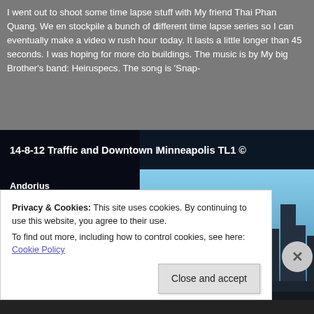I went out to shoot some time lapse stuff with My friend Thai Phan Quang. We en stockpile a bunch of different time lapse series so I can eventually make a video w rush hour today. It lasts a little longer than 45 seconds. I was hoping for more clo buildings. The music is by My big Brother's band: Heiruspecs. The song is 'Snap-
[Figure (screenshot): Video thumbnail showing '14-8-12 Traffic and Downtown Minneapolis TL1 ©' with author 'Andorius' and a skyline of Minneapolis with buildings against a blue sky. A cookie consent overlay appears at the bottom.]
Privacy & Cookies: This site uses cookies. By continuing to use this website, you agree to their use.
To find out more, including how to control cookies, see here: Cookie Policy
Close and accept